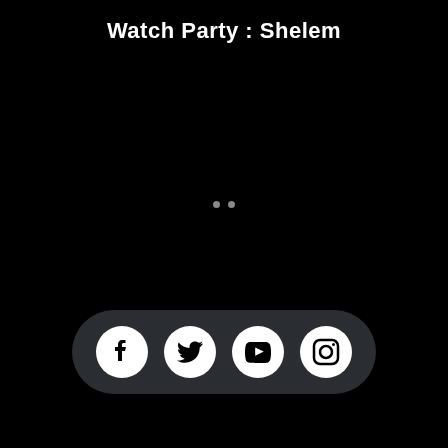Watch Party : Shelem
[Figure (infographic): Two small grey dots (loading/pagination indicator) centered on a black background]
[Figure (infographic): A dark rounded pill/capsule shape containing four white circular social media icons: Facebook, Twitter, YouTube, and Instagram]